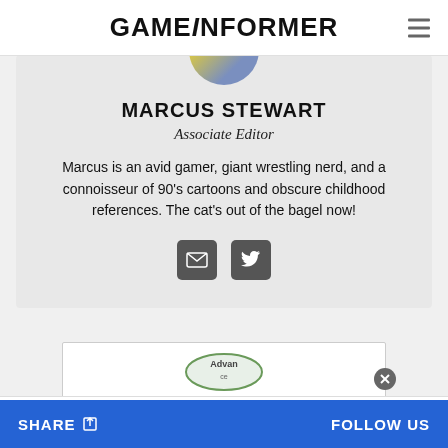GAMEINFORMER
MARCUS STEWART
Associate Editor
Marcus is an avid gamer, giant wrestling nerd, and a connoisseur of 90's cartoons and obscure childhood references. The cat's out of the bagel now!
[Figure (logo): Ad logo partially visible - Advanc(e) logo circle]
SHARE   FOLLOW US